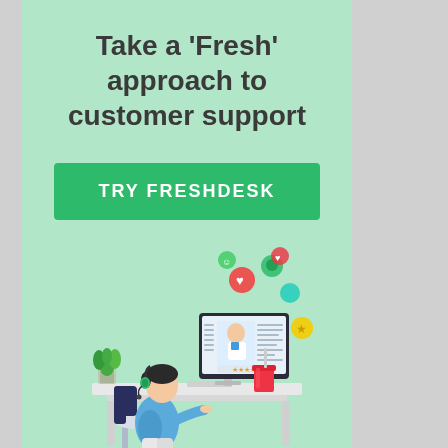Take a 'Fresh' approach to customer support
TRY FRESHDESK
[Figure (illustration): Isometric illustration of a customer support agent sitting at a desk with a headset, working on a computer monitor. The monitor shows a video call with a person in a white coat. Around the monitor float colorful social media notification icons (hearts, smiley faces, thumbs-up circles in red, yellow, green, and teal). A potted plant sits on the desk to the upper left, and a red drink cup sits to the right. The agent wears a blue shirt and dark chair.]